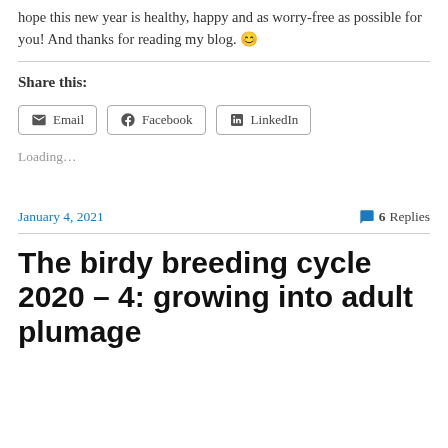hope this new year is healthy, happy and as worry-free as possible for you! And thanks for reading my blog. 😊
Share this:
Email  Facebook  LinkedIn
Loading...
January 4, 2021    💬 6 Replies
The birdy breeding cycle 2020 – 4: growing into adult plumage